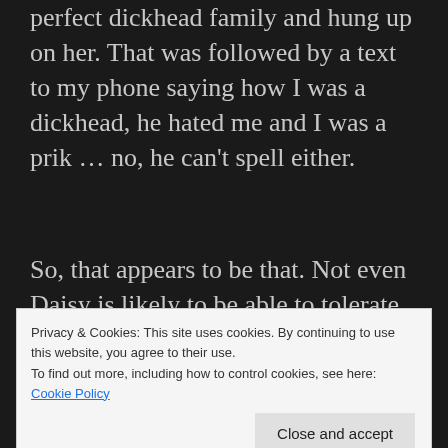perfect dickhead family and hung up on her. That was followed by a text to my phone saying how I was a dickhead, he hated me and I was a prik … no, he can't spell either.
So, that appears to be that. Not even Daisy is likely to be able to tolerate that sort of language and attitude.
Daisy is very lucky though, she has some
Privacy & Cookies: This site uses cookies. By continuing to use this website, you agree to their use.
To find out more, including how to control cookies, see here: Cookie Policy
Close and accept
knows him … I don't know and it wouldn't be